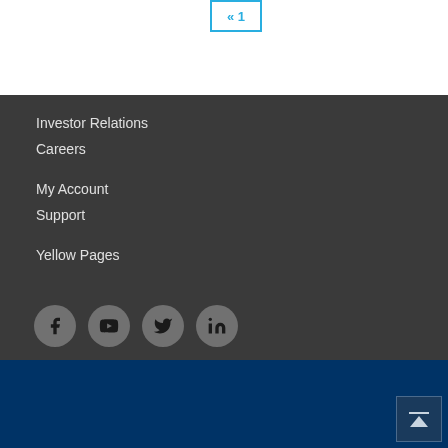[Figure (other): Pagination button with arrows and number 1 in cyan/teal border]
Investor Relations
Careers
My Account
Support
Yellow Pages
[Figure (other): Social media icons: Facebook, YouTube, Twitter, LinkedIn]
© 2022 Hawaiian Telcom. All Rights Reserved. Careers | Investor Relations | Privacy policy | Broadband Policy | Environmental Policy | Service Terms and Conditions | Tariffs | Site Map